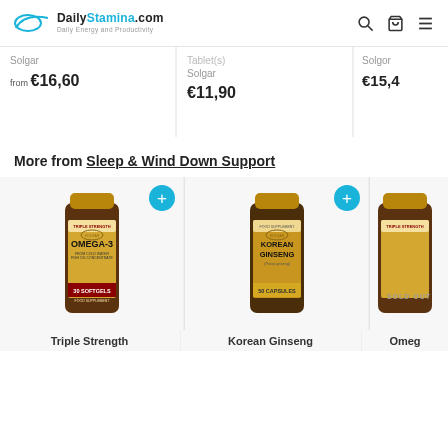DailyStamina.com — Daily Energy and Productivity
Solgar
from €16,60
Tablet(s)
Solgar
€11,90
Solgar
€15,4
More from Sleep & Wind Down Support
[Figure (photo): Solgar Triple Strength Omega-3 30 Softgels supplement bottle]
[Figure (photo): Solgar Korean Ginseng 50 Capsules supplement bottle]
[Figure (photo): Omega supplement bottle (partially visible), marked SOLD OUT]
Triple Strength
Korean Ginseng
Omeg